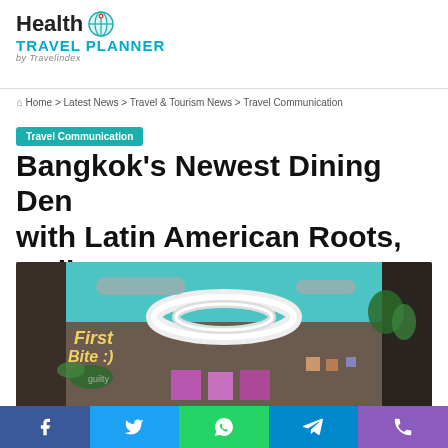[Figure (logo): Health Travel Planner by Travelindex logo with globe icon]
Home > Latest News > Travel & Tourism News > Travel Communication
Travel Communication
Bangkok’s Newest Dining Den with Latin American Roots, Guilty
[Figure (photo): Interior photo of Guilty restaurant showing industrial-style ceiling with large circular light fixture, neon signs reading 'First Bite', hanging plants, and colorful display screens]
[Figure (infographic): Social media share bar with Facebook, Twitter, WhatsApp, Telegram, and phone icons]